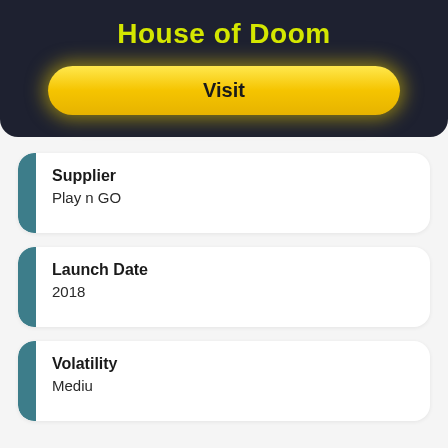House of Doom
Visit
Supplier
Play n GO
Launch Date
2018
Volatility
Medium